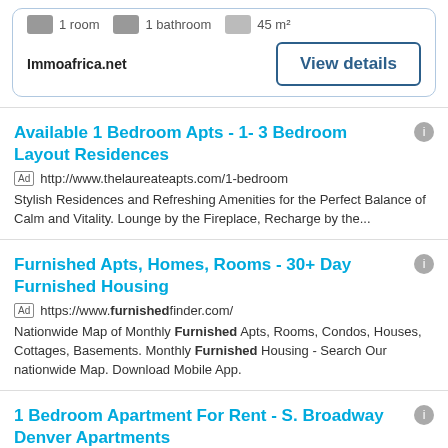1 room  1 bathroom  45 m²
Immoafrica.net
View details
Available 1 Bedroom Apts - 1- 3 Bedroom Layout Residences
Ad  http://www.thelaureateapts.com/1-bedroom
Stylish Residences and Refreshing Amenities for the Perfect Balance of Calm and Vitality. Lounge by the Fireplace, Recharge by the...
Furnished Apts, Homes, Rooms - 30+ Day Furnished Housing
Ad  https://www.furnishedfinder.com/
Nationwide Map of Monthly Furnished Apts, Rooms, Condos, Houses, Cottages, Basements. Monthly Furnished Housing - Search Our nationwide Map. Download Mobile App.
1 Bedroom Apartment For Rent - S. Broadway Denver Apartments
Ad  https://www.jayneapartments.com/
Mixture Of Refined Urban Apts Homes That Will Have You Appreciating Every Last Detail. Residents Of Jayne Are Drawn To A